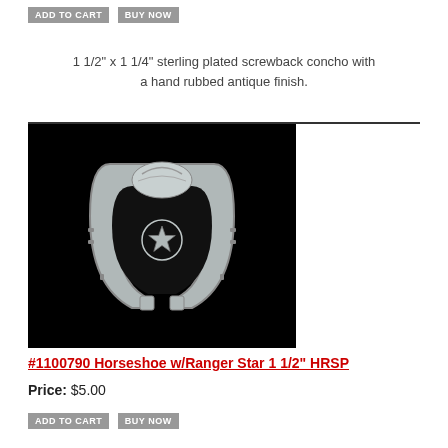1 1/2" x 1 1/4" sterling plated screwback concho with a hand rubbed antique finish.
[Figure (photo): Horseshoe shaped concho with Ranger Star, sterling plated, 1 1/2 inch, product #1100790 HRSP, shown on black background]
#1100790 Horseshoe w/Ranger Star 1 1/2" HRSP
Price: $5.00